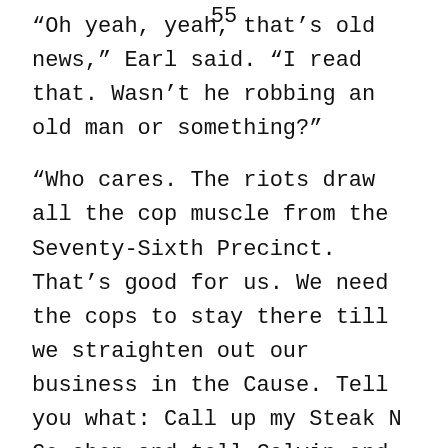55
“Oh yeah, yeah, that’s old news,” Earl said. “I read that. Wasn’t he robbing an old man or something?”
“Who cares. The riots draw all the cop muscle from the Seventy-Sixth Precinct. That’s good for us. We need the cops to stay there till we straighten out our business in the Cause. Tell you what: Call up my Steak N Go shop and tell Calvin and Justin to take the day off. Tell them to get flowers for the family, and cake and